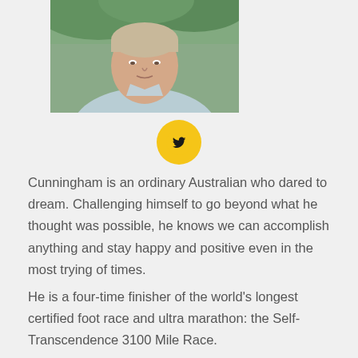[Figure (photo): Headshot of a man (Cunningham) outdoors with greenery in background, wearing a light blue shirt]
[Figure (logo): Twitter bird icon inside a yellow circle]
Cunningham is an ordinary Australian who dared to dream. Challenging himself to go beyond what he thought was possible, he knows we can accomplish anything and stay happy and positive even in the most trying of times.
He is a four-time finisher of the world's longest certified foot race and ultra marathon: the Self-Transcendence 3100 Mile Race.